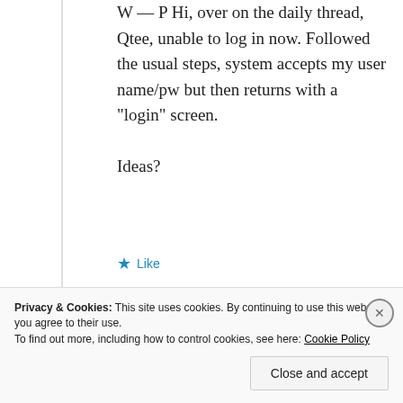W — P Hi, over on the daily thread, Qtee, unable to log in now. Followed the usual steps, system accepts my user name/pw but then returns with a “login” screen.

Ideas?
Like
Reply
[Figure (screenshot): Comment input text box (empty)]
Privacy & Cookies: This site uses cookies. By continuing to use this website, you agree to their use.
To find out more, including how to control cookies, see here: Cookie Policy
Close and accept